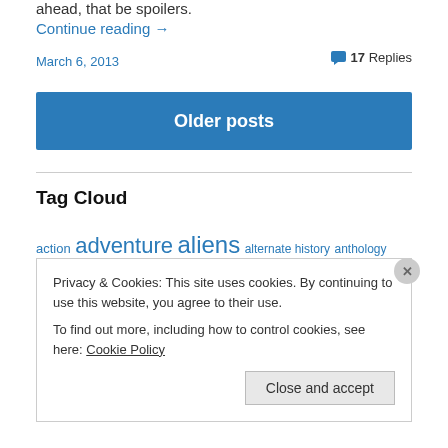ahead, that be spoilers.
Continue reading →
March 6, 2013
17 Replies
Older posts
Tag Cloud
action adventure aliens alternate history anthology aritificial
Privacy & Cookies: This site uses cookies. By continuing to use this website, you agree to their use.
To find out more, including how to control cookies, see here: Cookie Policy
Close and accept